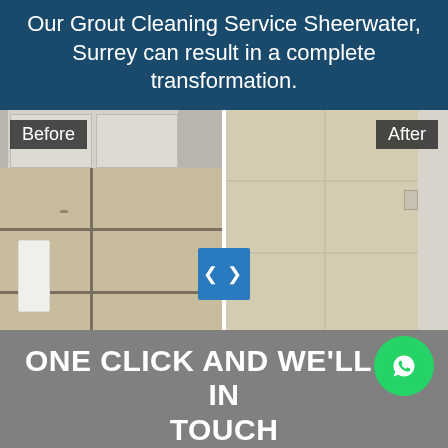Our Grout Cleaning Service Sheerwater, Surrey can result in a complete transformation.
[Figure (photo): Before and after split image of tile floor grout cleaning. Left side shows dirty grout lines, right side shows clean tiles. A blue slider button with < > arrows sits at the center divider. Labels 'Before' and 'After' appear in dark boxes at top corners.]
One click and we'll be in touch
Get A Quote!